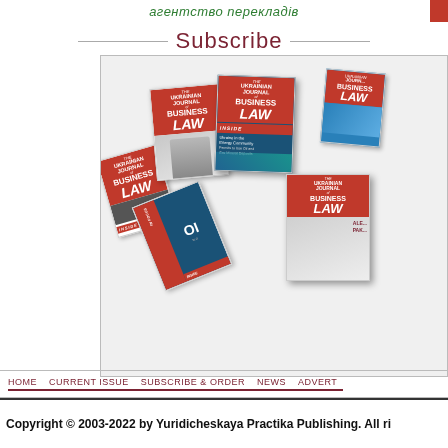агентство перекладiв
Subscribe
[Figure (photo): Collage of multiple issues of Ukrainian Journal of Business Law magazine covers, showing various cover designs including people and themed content about energy community and oil and gas.]
HOME   CURRENT ISSUE   SUBSCRIBE & ORDER   NEWS   ADVERT...
Copyright © 2003-2022 by Yuridicheskaya Practika Publishing. All ri...